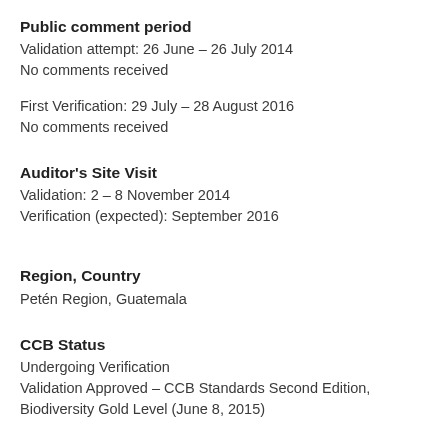Public comment period
Validation attempt: 26 June – 26 July 2014
No comments received
First Verification: 29 July – 28 August 2016
No comments received
Auditor's Site Visit
Validation: 2 – 8 November 2014
Verification (expected): September 2016
Region, Country
Petén Region, Guatemala
CCB Status
Undergoing Verification
Validation Approved – CCB Standards Second Edition, Biodiversity Gold Level (June 8, 2015)
CCB Auditor/Certifier
AENOR